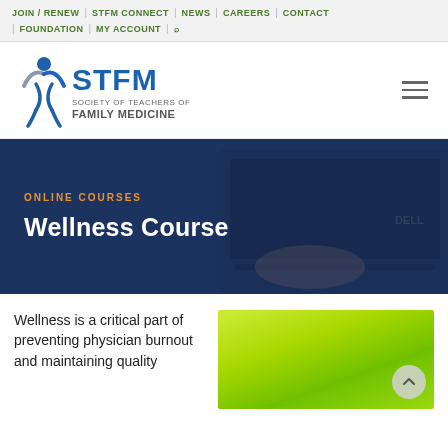JOIN / RENEW | STFM CONNECT | NEWS | CAREERS | CONTACT | FOUNDATION | MY ACCOUNT | 🔍
[Figure (logo): STFM - Society of Teachers of Family Medicine logo with blue figure icon and blue/gray text]
ONLINE COURSES
Wellness Course
Wellness is a critical part of preventing physician burnout and maintaining quality
[Figure (photo): Green gradient background image, partial view of a wellness course illustration]